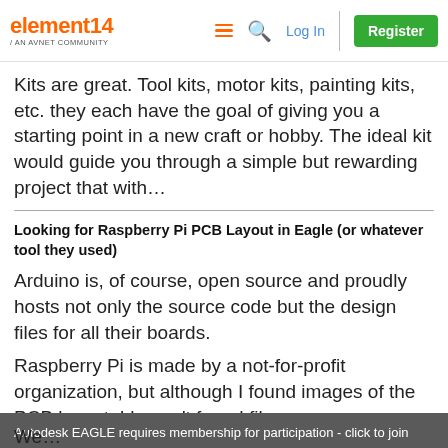element14 / AN AVNET COMMUNITY  Log In  Register
Kits are great. Tool kits, motor kits, painting kits, etc. they each have the goal of giving you a starting point in a new craft or hobby. The ideal kit would guide you through a simple but rewarding project that with…
Looking for Raspberry Pi PCB Layout in Eagle (or whatever tool they used)
Arduino is, of course, open source and proudly hosts not only the source code but the design files for all their boards.
Raspberry Pi is made by a not-for-profit organization, but although I found images of the PCB layout, I haven't found files.
Autodesk EAGLE requires membership for participation - click to join
We…